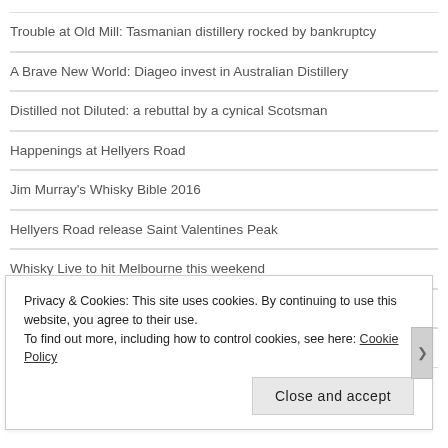Trouble at Old Mill: Tasmanian distillery rocked by bankruptcy
A Brave New World: Diageo invest in Australian Distillery
Distilled not Diluted: a rebuttal by a cynical Scotsman
Happenings at Hellyers Road
Jim Murray's Whisky Bible 2016
Hellyers Road release Saint Valentines Peak
Whisky Live to hit Melbourne this weekend
Whisky Business post-Easter get-together
Tasmanians on top of the world at the London World Whiskies Awards
Privacy & Cookies: This site uses cookies. By continuing to use this website, you agree to their use. To find out more, including how to control cookies, see here: Cookie Policy
Close and accept